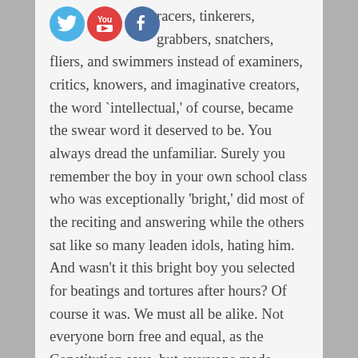[Figure (logo): Three social media icon circles: Twitter (blue bird), YouTube (red with 'You' text), Facebook (blue with 'f')]
running, skimmers, runners, jumpers, racers, tinkerers, grabbers, snatchers, fliers, and swimmers instead of examiners, critics, knowers, and imaginative creators, the word `intellectual,' of course, became the swear word it deserved to be. You always dread the unfamiliar. Surely you remember the boy in your own school class who was exceptionally 'bright,' did most of the reciting and answering while the others sat like so many leaden idols, hating him. And wasn't it this bright boy you selected for beatings and tortures after hours? Of course it was. We must all be alike. Not everyone born free and equal, as the Constitution says, but everyone made equal. Each man the